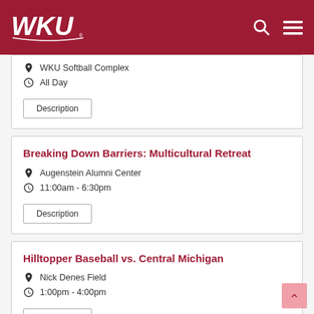WKU
WKU Softball Complex
All Day
Description
Breaking Down Barriers: Multicultural Retreat
Augenstein Alumni Center
11:00am - 6:30pm
Description
Hilltopper Baseball vs. Central Michigan
Nick Denes Field
1:00pm - 4:00pm
Description